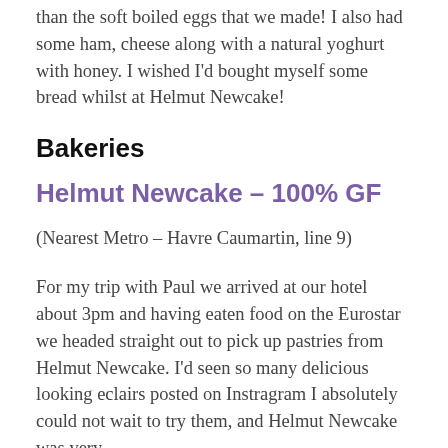than the soft boiled eggs that we made! I also had some ham, cheese along with a natural yoghurt with honey. I wished I'd bought myself some bread whilst at Helmut Newcake!
Bakeries
Helmut Newcake – 100% GF
(Nearest Metro – Havre Caumartin, line 9)
For my trip with Paul we arrived at our hotel about 3pm and having eaten food on the Eurostar we headed straight out to pick up pastries from Helmut Newcake. I'd seen so many delicious looking eclairs posted on Instragram I absolutely could not wait to try them, and Helmut Newcake was very